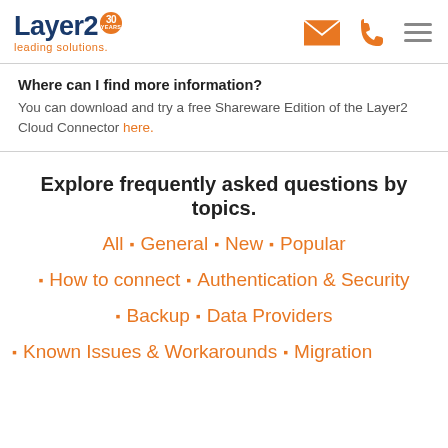Layer2 leading solutions. [header with logo, email icon, phone icon, menu icon]
Where can I find more information?
You can download and try a free Shareware Edition of the Layer2 Cloud Connector here.
Explore frequently asked questions by topics.
All • General • New • Popular
▪ How to connect  ▪ Authentication & Security
▪ Backup  ▪ Data Providers
▪ Known Issues & Workarounds  ▪ Migration